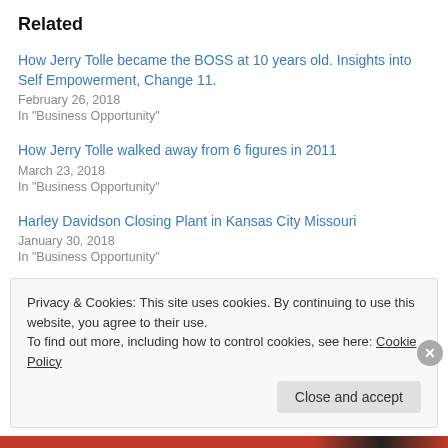Related
How Jerry Tolle became the BOSS at 10 years old. Insights into Self Empowerment, Change 11.
February 26, 2018
In "Business Opportunity"
How Jerry Tolle walked away from 6 figures in 2011
March 23, 2018
In "Business Opportunity"
Harley Davidson Closing Plant in Kansas City Missouri
January 30, 2018
In "Business Opportunity"
Privacy & Cookies: This site uses cookies. By continuing to use this website, you agree to their use.
To find out more, including how to control cookies, see here: Cookie Policy